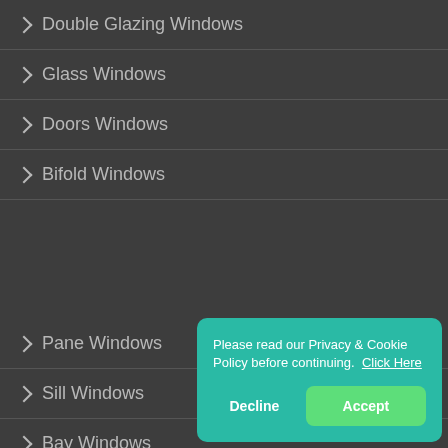▶ Double Glazing Windows
▶ Glass Windows
▶ Doors Windows
▶ Bifold Windows
▶ Pane Windows
▶ Sill Windows
▶ Bay Windows
▶ Velux Windows
▶ Dorma Windows
Please read our Privacy & Cookie Policy before continuing. Click Here
Decline | Accept